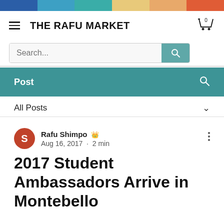[Figure (other): Horizontal color bar with segments: dark blue, medium blue, teal, tan/beige, light orange, orange-red]
THE RAFU MARKET
[Figure (other): Search bar with placeholder text 'Search...' and teal search button with magnifying glass icon]
Post
All Posts
Rafu Shimpo 👑
Aug 16, 2017 · 2 min
2017 Student Ambassadors Arrive in Montebello